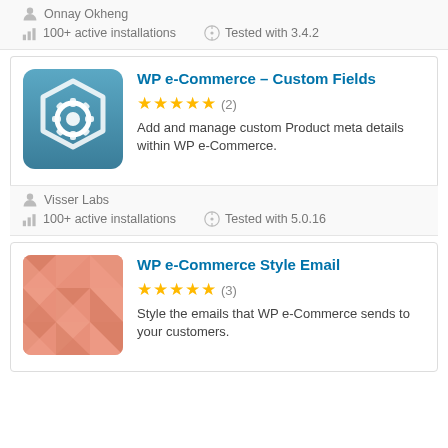Onnay Okheng
100+ active installations   Tested with 3.4.2
[Figure (illustration): Blue rounded square icon with white gear/settings cube logo for WP e-Commerce Custom Fields plugin]
WP e-Commerce – Custom Fields
★★★★★ (2)
Add and manage custom Product meta details within WP e-Commerce.
Visser Labs
100+ active installations   Tested with 5.0.16
[Figure (illustration): Salmon/pink geometric pattern icon with triangles for WP e-Commerce Style Email plugin]
WP e-Commerce Style Email
★★★★★ (3)
Style the emails that WP e-Commerce sends to your customers.